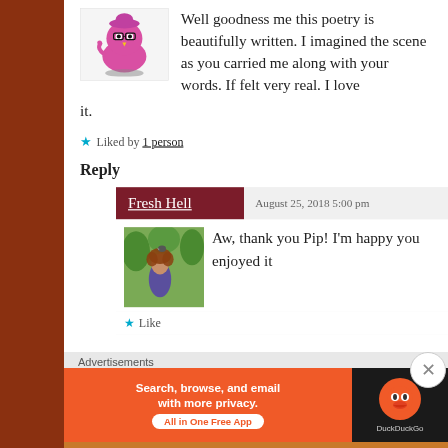Well goodness me this poetry is beautifully written. I imagined the scene as you carried me along with your words. If felt very real. I love it.
★ Liked by 1 person
Reply
Fresh Hell  August 25, 2018 5:00 pm
[Figure (photo): Profile photo of a person with curly hair outdoors]
Aw, thank you Pip! I'm happy you enjoyed it
★ Like
Advertisements
[Figure (screenshot): DuckDuckGo advertisement banner: Search, browse, and email with more privacy. All in One Free App]